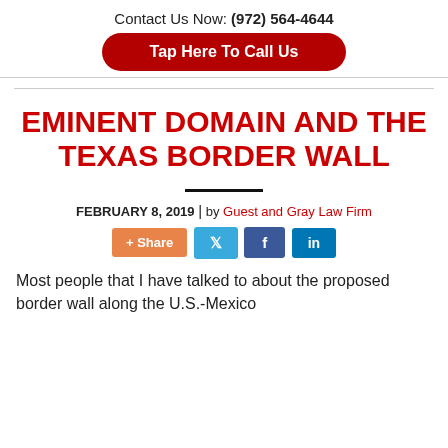Contact Us Now: (972) 564-4644
Tap Here To Call Us
EMINENT DOMAIN AND THE TEXAS BORDER WALL
FEBRUARY 8, 2019 | by Guest and Gray Law Firm
[Figure (infographic): Social share buttons: + Share (orange), Twitter bird icon (light blue), Facebook f icon (dark blue), LinkedIn in icon (blue)]
Most people that I have talked to about the proposed border wall along the U.S.-Mexico